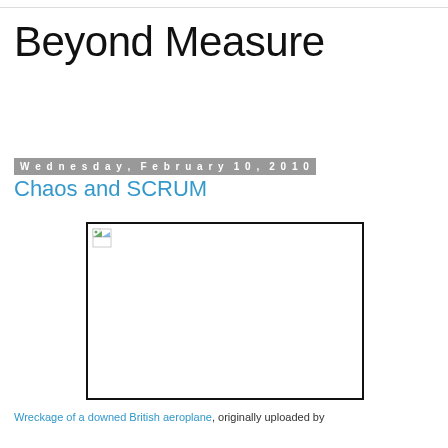Beyond Measure
Wednesday, February 10, 2010
Chaos and SCRUM
[Figure (photo): A broken/missing image placeholder representing a photograph. The image failed to load and shows a broken image icon in the top-left corner of a white rectangle with a black border.]
Wreckage of a downed British aeroplane, originally uploaded by